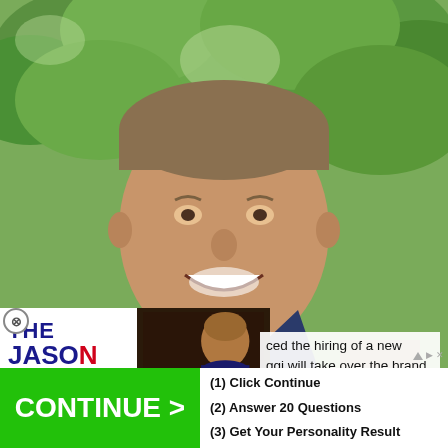[Figure (photo): Smiling middle-aged man in a suit jacket outdoors with green trees in background]
[Figure (screenshot): The Jason Barrett Podcast overlay widget thumbnail with Jim Rome segment titled JIM ROME GOT NEW PLAYBOOK]
ced the hiring of a new
ggi will take over the brand
[Figure (other): Green CONTINUE > advertisement button with steps: (1) Click Continue, (2) Answer 20 Questions, (3) Get Your Personality Result]